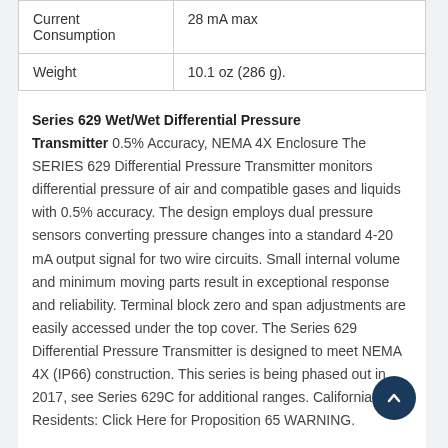|  |  |
| --- | --- |
| Current Consumption | 28 mA max |
| Weight | 10.1 oz (286 g). |
Series 629 Wet/Wet Differential Pressure Transmitter 0.5% Accuracy, NEMA 4X Enclosure The SERIES 629 Differential Pressure Transmitter monitors differential pressure of air and compatible gases and liquids with 0.5% accuracy. The design employs dual pressure sensors converting pressure changes into a standard 4-20 mA output signal for two wire circuits. Small internal volume and minimum moving parts result in exceptional response and reliability. Terminal block zero and span adjustments are easily accessed under the top cover. The Series 629 Differential Pressure Transmitter is designed to meet NEMA 4X (IP66) construction. This series is being phased out in 2017, see Series 629C for additional ranges. California Residents: Click Here for Proposition 65 WARNING.